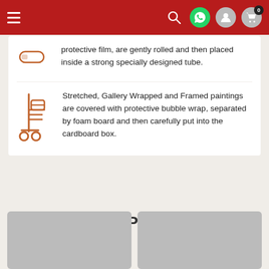Navigation bar with menu, search, whatsapp, user, and cart icons
protective film, are gently rolled and then placed inside a strong specially designed tube.
Stretched, Gallery Wrapped and Framed paintings are covered with protective bubble wrap, separated by foam board and then carefully put into the cardboard box.
Similar Paintings
[Figure (photo): Two placeholder image thumbnails for similar paintings]